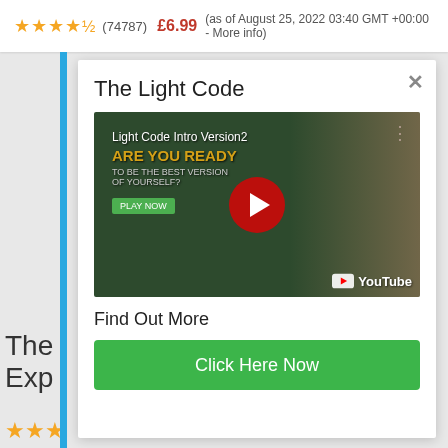★★★★½ (74787) £6.99 (as of August 25, 2022 03:40 GMT +00:00 - More info)
The Light Code
[Figure (screenshot): YouTube video thumbnail for 'Light Code Intro Version2 - ARE YOU READY TO BE THE BEST VERSION OF YOURSELF?' with a red play button in the center and YouTube logo in the bottom right. Background shows a woman's hands in a nature setting.]
Find Out More
Click Here Now